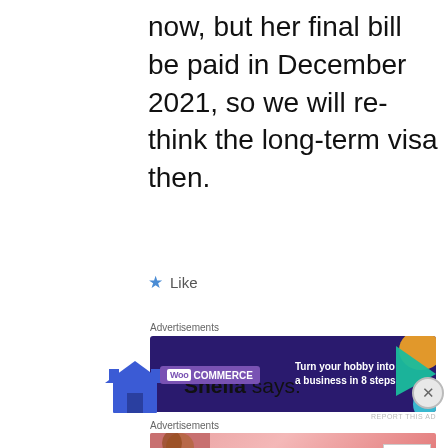now, but her final bill be paid in December 2021, so we will re-think the long-term visa then.
★ Like
Advertisements
[Figure (other): WooCommerce advertisement banner: dark purple background with WooCommerce logo and text 'Turn your hobby into a business in 8 steps' with colorful geometric shapes]
REPORT THIS AD
Sheila says:
Advertisements
[Figure (other): Victoria's Secret advertisement banner: pink background with VS logo, 'SHOP THE COLLECTION' text and 'SHOP NOW' button, featuring a woman model on the left]
REPORT THIS AD